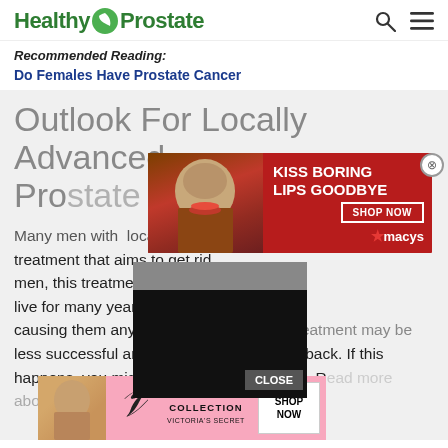Healthy Prostate
Recommended Reading:
Do Females Have Prostate Cancer
Outlook For Locally Advanced Prostate Cancer
[Figure (photo): Macy's advertisement banner: woman with red lips, text 'KISS BORING LIPS GOODBYE', SHOP NOW button, Macy's star logo]
Many men with locally advanced prostate cancer can be cured with treatment that aims to get rid of the cancer. For some men, this treatment can be very successful and they can live for many years without the cancer coming back or causing them any problems. For others, treatment may be less successful and the cancer may come back. If this happens, you might need further treatment. Read more about
[Figure (photo): Victoria's Secret advertisement: woman, VS logo, SHOP THE COLLECTION text, SHOP NOW button]